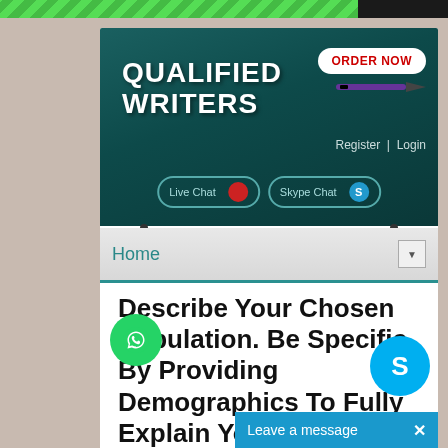[Figure (screenshot): Qualified Writers website screenshot showing header with logo, Order Now button, Live Chat and Skype Chat buttons, Register/Login links, navigation bar with Home, and article title about describing population demographics]
QUALIFIED WRITERS
Register | Login
Live Chat
Skype Chat
Home
Describe Your Chosen Population. Be Specific By Providing Demographics To Fully Explain Your Population (Provide Two – Three Sentences To Exp...
Leave a message  ×